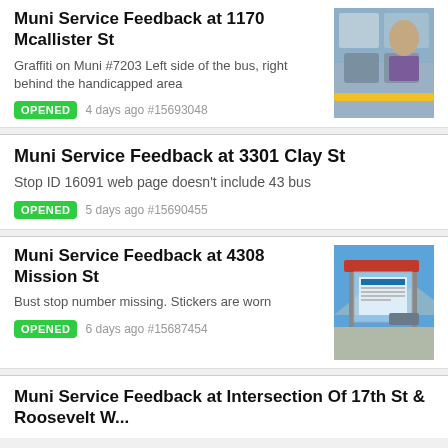Muni Service Feedback at 1170 Mcallister St
Graffiti on Muni #7203 Left side of the bus, right behind the handicapped area
OPENED 4 days ago #15693048
[Figure (photo): Interior of a Muni bus showing seats and a yellow handrail]
Muni Service Feedback at 3301 Clay St
Stop ID 16091 web page doesn't include 43 bus
OPENED 5 days ago #15690455
Muni Service Feedback at 4308 Mission St
Bust stop number missing. Stickers are worn
OPENED 6 days ago #15687454
[Figure (photo): Outdoor bus stop shelter with red roof under blue sky]
Muni Service Feedback at Intersection Of 17th St & Roosevelt W...